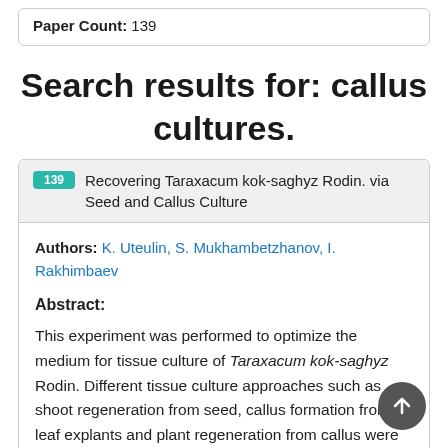Paper Count: 139
Search results for: callus cultures.
139  Recovering Taraxacum kok-saghyz Rodin. via Seed and Callus Culture
Authors: K. Uteulin, S. Mukhambetzhanov, I. Rakhimbaev
Abstract:
This experiment was performed to optimize the medium for tissue culture of Taraxacum kok-saghyz Rodin. Different tissue culture approaches such as shoot regeneration from seed, callus formation from leaf explants and plant regeneration from callus were